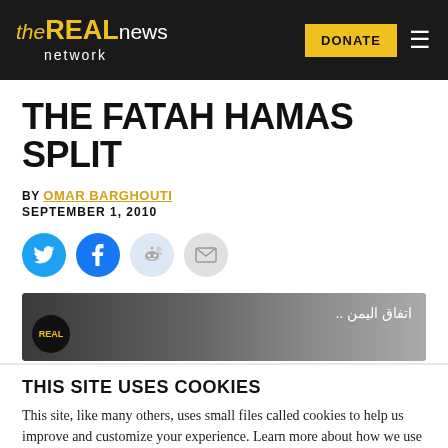the REAL news network | DONATE
THE FATAH HAMAS SPLIT
BY OMAR BARGHOUTI
SEPTEMBER 1, 2010
[Figure (screenshot): Social share buttons: Twitter (blue circle), Facebook (blue circle), Reddit (light blue circle), Email (grey circle)]
[Figure (screenshot): Video thumbnail from The Real News Network, showing the real news logo and Arabic text 'اتفاق اليمن..']
THIS SITE USES COOKIES
This site, like many others, uses small files called cookies to help us improve and customize your experience. Learn more about how we use cookies in our cookie policy.
Learn more about cookies
OK